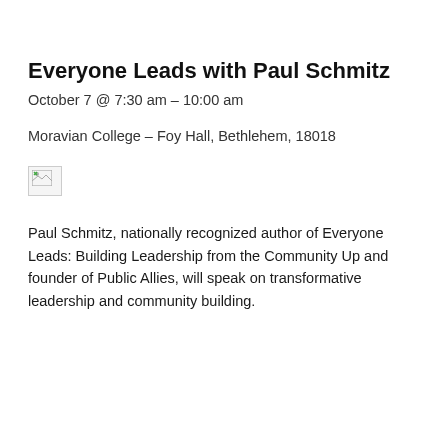Everyone Leads with Paul Schmitz
October 7 @ 7:30 am – 10:00 am
Moravian College – Foy Hall, Bethlehem, 18018
[Figure (photo): Broken/missing image placeholder]
Paul Schmitz, nationally recognized author of Everyone Leads: Building Leadership from the Community Up and founder of Public Allies, will speak on transformative leadership and community building.